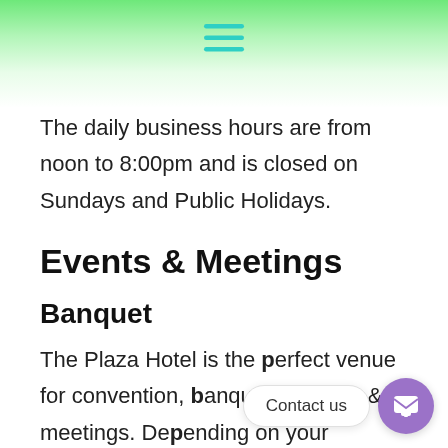[hamburger menu icon]
The daily business hours are from noon to 8:00pm and is closed on Sundays and Public Holidays.
Events & Meetings
Banquet
The Plaza Hotel is the perfect venue for convention, banquet, seminar & meetings. Depending on your requirements, you can choose from two mid-size halls with a capacity of 40-500 banquet-style, or up